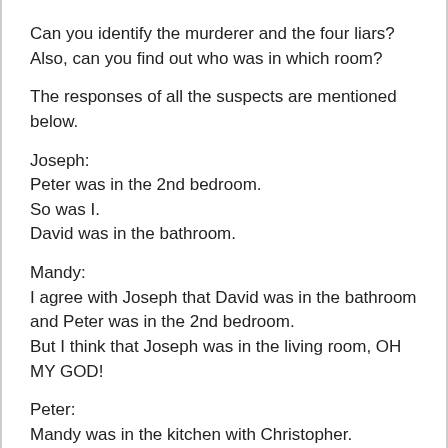Can you identify the murderer and the four liars? Also, can you find out who was in which room?
The responses of all the suspects are mentioned below.
Joseph:
Peter was in the 2nd bedroom.
So was I.
David was in the bathroom.
Mandy:
I agree with Joseph that David was in the bathroom and Peter was in the 2nd bedroom.
But I think that Joseph was in the living room, OH MY GOD!
Peter:
Mandy was in the kitchen with Christopher.
But I was in the bathroom.
David:
I still say Peter was in the 2nd bedroom and Jennifer was in the bathroom.
Joseph was in the 1st bedroom.
Jennifer: